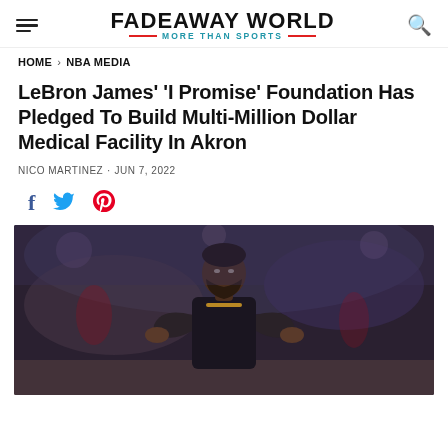FADEAWAY WORLD — MORE THAN SPORTS
HOME > NBA MEDIA
LeBron James' 'I Promise' Foundation Has Pledged To Build Multi-Million Dollar Medical Facility In Akron
NICO MARTINEZ · JUN 7, 2022
[Figure (photo): Photo of LeBron James in Los Angeles Lakers uniform clapping, with blurred arena background]
[Figure (infographic): Social share icons: Facebook (f), Twitter (bird), Pinterest (P)]